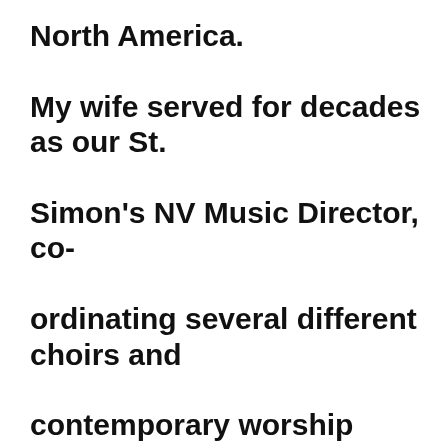North America. My wife served for decades as our St. Simon's NV Music Director, co-ordinating several different choirs and contemporary worship bands. Archbishop David Somerville, who first ordained me, once said that if the choirs were to i...